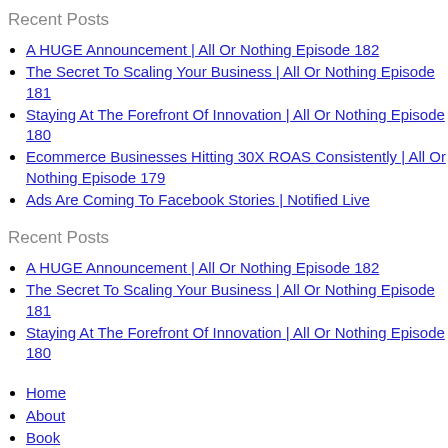Recent Posts
A HUGE Announcement | All Or Nothing Episode 182
The Secret To Scaling Your Business | All Or Nothing Episode 181
Staying At The Forefront Of Innovation | All Or Nothing Episode 180
Ecommerce Businesses Hitting 30X ROAS Consistently | All Or Nothing Episode 179
Ads Are Coming To Facebook Stories | Notified Live
Recent Posts
A HUGE Announcement | All Or Nothing Episode 182
The Secret To Scaling Your Business | All Or Nothing Episode 181
Staying At The Forefront Of Innovation | All Or Nothing Episode 180
Home
About
Book
Podcasts
Blog
Contact